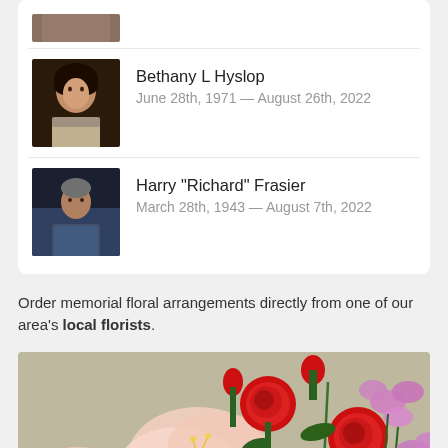[Figure (photo): Partial photo visible at top of card, cropped]
Bethany L Hyslop
June 28th, 1971 — August 26th, 2022
[Figure (photo): Portrait photo of Harry Richard Frasier, older man]
Harry "Richard" Frasier
March 28th, 1943 — August 7th, 2022
Order memorial floral arrangements directly from one of our area's local florists.
[Figure (photo): Floral arrangement photo showing red roses, pink amaryllis, and purple flowers]